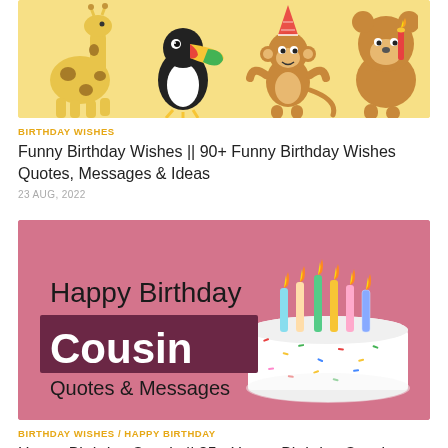[Figure (illustration): Cartoon birthday animals banner with giraffe, toucan, monkey with party hat, and bear with candle on yellow background]
BIRTHDAY WISHES
Funny Birthday Wishes || 90+ Funny Birthday Wishes Quotes, Messages & Ideas
23 AUG, 2022
[Figure (photo): Happy Birthday Cousin Quotes & Messages - photo of white birthday cake with colorful candles on pink background with text overlay]
BIRTHDAY WISHES / HAPPY BIRTHDAY
Happy Birthday Cousin || 85+ Happy Birthday Cousin Wishes